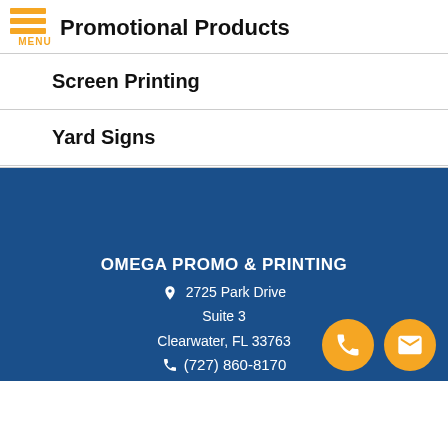Promotional Products
Screen Printing
Yard Signs
OMEGA PROMO & PRINTING
2725 Park Drive
Suite 3
Clearwater, FL 33763
(727) 860-8170